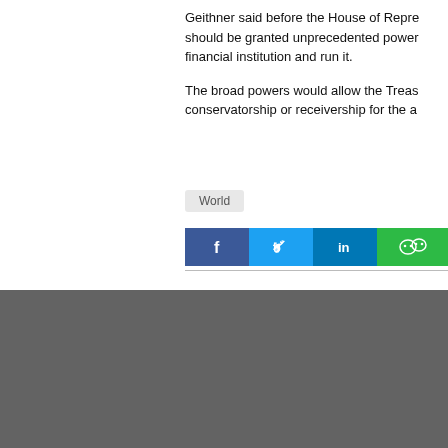Geithner said before the House of Representatives that the government should be granted unprecedented powers to seize a failing financial institution and run it.

The broad powers would allow the Treasury to place a company in conservatorship or receivership for the a...
World
[Figure (other): Social media share buttons: Facebook, Twitter, LinkedIn, WeChat]
About Us | Terms of Use | RSS | Privacy Policy | Contact Us | Shanghai Call C...
沪ICP备ICP050504030-1 | 互联网新闻信息服务许可证31120180004 | 信息网络传播视听节目许可证0909346 | 互联网出版许可证（沪）网出证（沪）35
Copyright © 1999-2022 Shanghai Daily. All rights reserved.Preferably viewed with Intern...